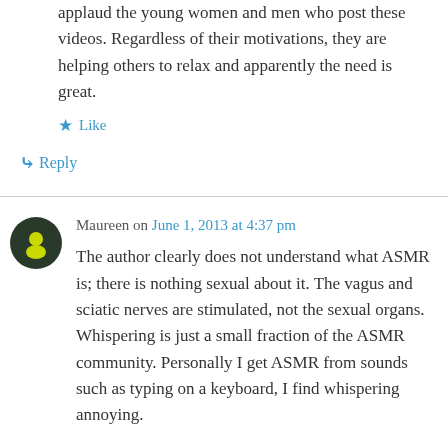applaud the young women and men who post these videos. Regardless of their motivations, they are helping others to relax and apparently the need is great.
Like
Reply
Maureen on June 1, 2013 at 4:37 pm
The author clearly does not understand what ASMR is; there is nothing sexual about it. The vagus and sciatic nerves are stimulated, not the sexual organs. Whispering is just a small fraction of the ASMR community. Personally I get ASMR from sounds such as typing on a keyboard, I find whispering annoying.